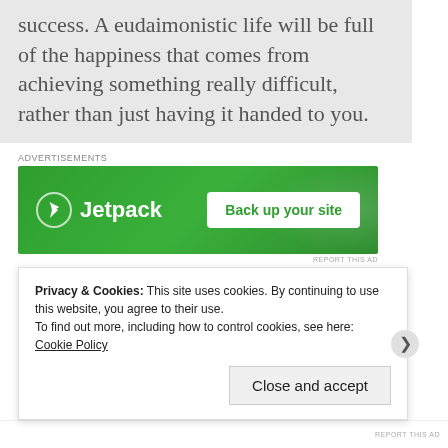success. A eudaimonistic life will be full of the happiness that comes from achieving something really difficult, rather than just having it handed to you.
[Figure (other): Jetpack advertisement banner with green background, Jetpack logo on left and 'Back up your site' button on right]
Aristotle also believed that moral knowledge is learned
Privacy & Cookies: This site uses cookies. By continuing to use this website, you agree to their use. To find out more, including how to control cookies, see here: Cookie Policy